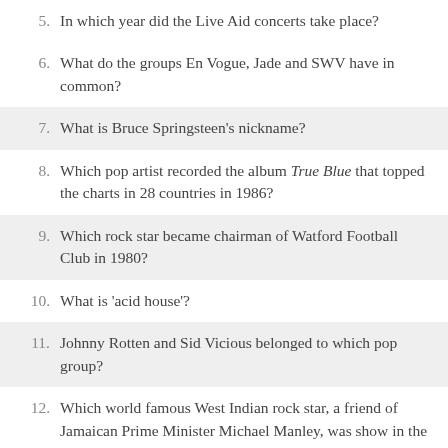5. In which year did the Live Aid concerts take place?
6. What do the groups En Vogue, Jade and SWV have in common?
7. What is Bruce Springsteen's nickname?
8. Which pop artist recorded the album True Blue that topped the charts in 28 countries in 1986?
9. Which rock star became chairman of Watford Football Club in 1980?
10. What is 'acid house'?
11. Johnny Rotten and Sid Vicious belonged to which pop group?
12. Which world famous West Indian rock star, a friend of Jamaican Prime Minister Michael Manley, was show in the arm by political opponents in 1976?